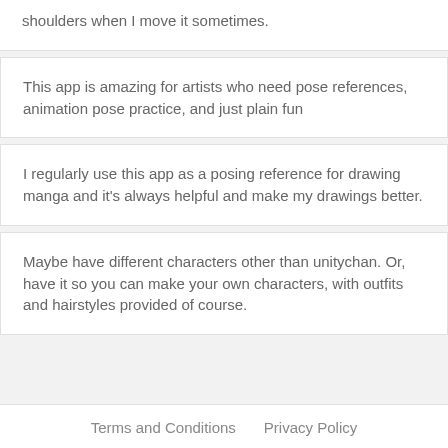shoulders when I move it sometimes.
This app is amazing for artists who need pose references, animation pose practice, and just plain fun
I regularly use this app as a posing reference for drawing manga and it's always helpful and make my drawings better.
Maybe have different characters other than unitychan. Or, have it so you can make your own characters, with outfits and hairstyles provided of course.
Terms and Conditions   Privacy Policy